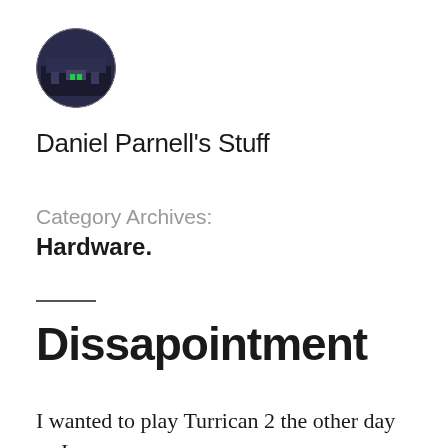[Figure (photo): Circular avatar/profile photo showing a person or scene with dark tones and green elements]
Daniel Parnell's Stuff
Category Archives:
Hardware.
Dissapointment
I wanted to play Turrican 2 the other day so I